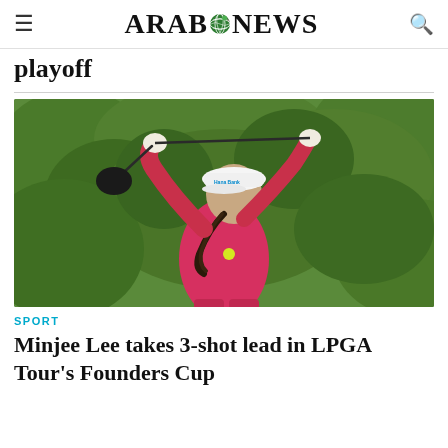ARAB NEWS
playoff
[Figure (photo): Female golfer in pink long-sleeve top and white Hana Bank cap mid-swing with a golf club, green blurred background]
SPORT
Minjee Lee takes 3-shot lead in LPGA Tour's Founders Cup